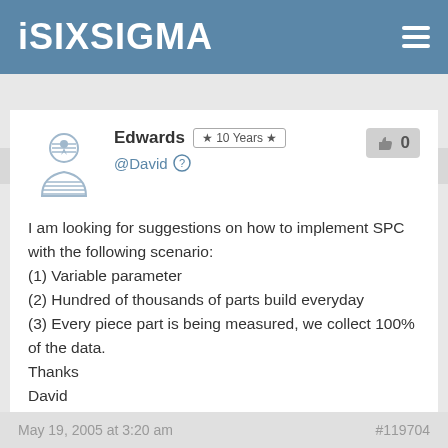iSixSigma
May 19, 2005 at 2:53 am    #39403
Edwards  ★ 10 Years ★
@David

I am looking for suggestions on how to implement SPC with the following scenario:
(1) Variable parameter
(2) Hundred of thousands of parts build everyday
(3) Every piece part is being measured, we collect 100% of the data.
Thanks
David
May 19, 2005 at 3:20 am    #119704